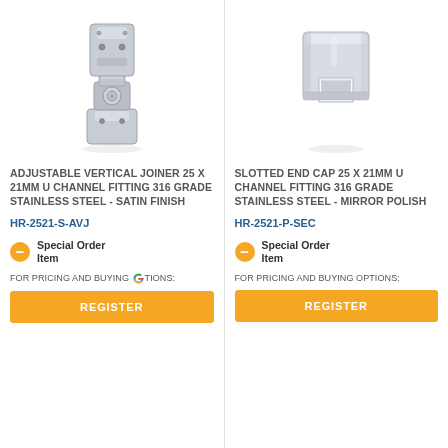[Figure (photo): Adjustable vertical joiner 25x21mm U channel fitting, stainless steel satin finish, articulating joint connector]
ADJUSTABLE VERTICAL JOINER 25 X 21MM U CHANNEL FITTING 316 GRADE STAINLESS STEEL - SATIN FINISH
HR-2521-S-AVJ
Special Order Item
FOR PRICING AND BUYING OPTIONS:
REGISTER
[Figure (photo): Slotted end cap 25x21mm U channel fitting, 316 grade stainless steel mirror polish, square bracket shape]
SLOTTED END CAP 25 X 21MM U CHANNEL FITTING 316 GRADE STAINLESS STEEL - MIRROR POLISH
HR-2521-P-SEC
Special Order Item
FOR PRICING AND BUYING OPTIONS:
REGISTER